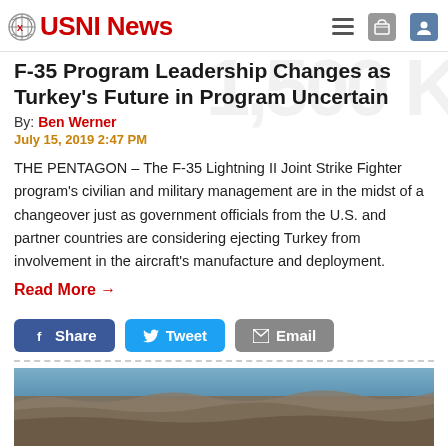USNI News
F-35 Program Leadership Changes as Turkey's Future in Program Uncertain
By: Ben Werner
July 15, 2019 2:47 PM
THE PENTAGON – The F-35 Lightning II Joint Strike Fighter program's civilian and military management are in the midst of a changeover just as government officials from the U.S. and partner countries are considering ejecting Turkey from involvement in the aircraft's manufacture and deployment.
Read More →
[Figure (photo): Aerial landscape photograph showing mountainous/desert terrain from above, likely taken from aircraft.]